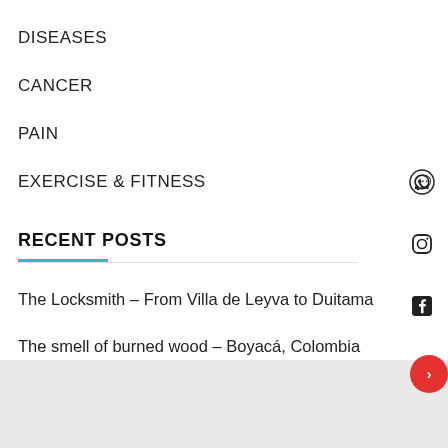DISEASES
CANCER
PAIN
EXERCISE & FITNESS
RECENT POSTS
The Locksmith – From Villa de Leyva to Duitama
The smell of burned wood – Boyacá, Colombia
…